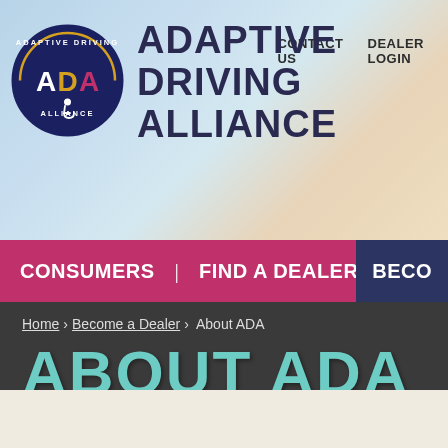[Figure (logo): Adaptive Driving Alliance circular logo with ADA text and wheelchair symbol]
ADAPTIVE DRIVING ALLIANCE
CONTACT US   DEALER LOGIN
CONSUMERS | FIND A DEALER | DEALERS | BECO
Home > Become a Dealer > About ADA
ABOUT ADA
Contact us